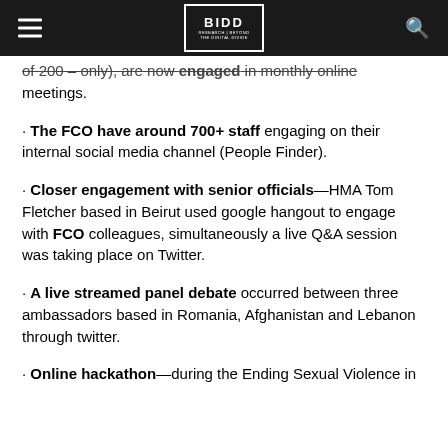BIDD — [logo with navigation hamburger and search icon]
of 200 – only), are now engaged in monthly online meetings.
· The FCO have around 700+ staff engaging on their internal social media channel (People Finder).
· Closer engagement with senior officials—HMA Tom Fletcher based in Beirut used google hangout to engage with FCO colleagues, simultaneously a live Q&A session was taking place on Twitter.
· A live streamed panel debate occurred between three ambassadors based in Romania, Afghanistan and Lebanon through twitter.
· Online hackathon—during the Ending Sexual Violence in